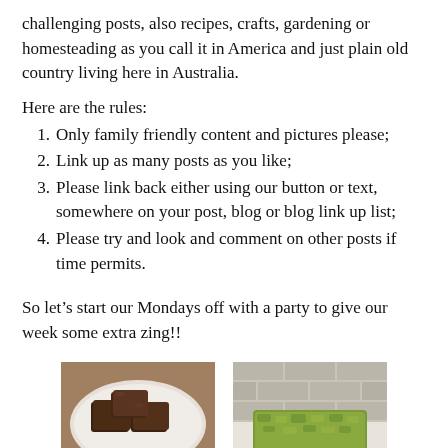challenging posts, also recipes, crafts, gardening or homesteading as you call it in America and just plain old country living here in Australia.
Here are the rules:
Only family friendly content and pictures please;
Link up as many posts as you like;
Please link back either using our button or text, somewhere on your post, blog or blog link up list;
Please try and look and comment on other posts if time permits.
So let's start our Mondays off with a party to give our week some extra zing!!
[Figure (photo): Photo of chocolate brownies on a white plate]
[Figure (photo): Photo of a green herb or vegetable slice/bar on a white surface with brick wall background]